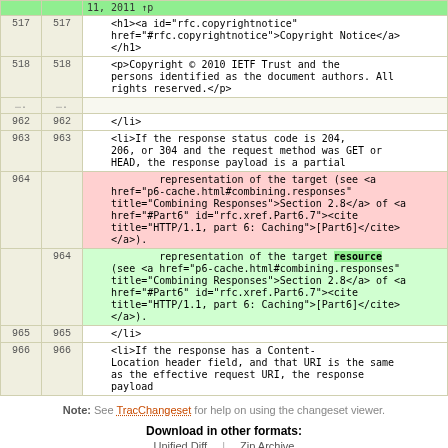| old line | new line | content |
| --- | --- | --- |
| 517 | 517 | <h1><a id="rfc.copyrightnotice" href="#rfc.copyrightnotice">Copyright Notice</a></h1> |
| 518 | 518 | <p>Copyright © 2010 IETF Trust and the persons identified as the document authors. All rights reserved.</p> |
| .... | .... |  |
| 962 | 962 | </li> |
| 963 | 963 | <li>If the response status code is 204, 206, or 304 and the request method was GET or HEAD, the response payload is a partial |
| 964 |  | representation of the target (see <a href="p6-cache.html#combining.responses" title="Combining Responses">Section 2.8</a> of <a href="#Part6" id="rfc.xref.Part6.7"><cite title="HTTP/1.1, part 6: Caching">[Part6]</cite></a>). |
|  | 964 | representation of the target resource (see <a href="p6-cache.html#combining.responses" title="Combining Responses">Section 2.8</a> of <a href="#Part6" id="rfc.xref.Part6.7"><cite title="HTTP/1.1, part 6: Caching">[Part6]</cite></a>). |
| 965 | 965 | </li> |
| 966 | 966 | <li>If the response has a Content-Location header field, and that URI is the same as the effective request URI, the response payload |
Note: See TracChangeset for help on using the changeset viewer.
Download in other formats: Unified Diff | Zip Archive